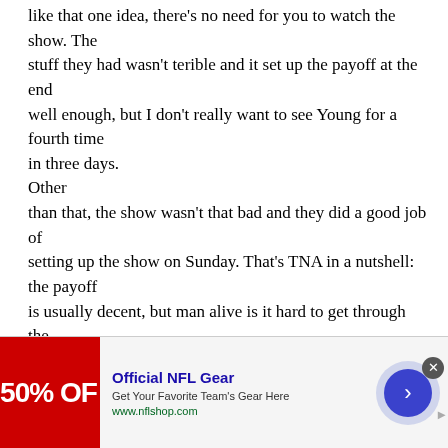like that one idea, there's no need for you to watch the show. The stuff they had wasn't terible and it set up the payoff at the end well enough, but I don't really want to see Young for a fourth time in three days. Other than that, the show wasn't that bad and they did a good job of setting up the show on Sunday. That's TNA in a nutshell: the payoff is usually decent, but man alive is it hard to get through the
[Figure (other): Advertisement banner for Official NFL Gear showing 50% OFF in red, with title 'Official NFL Gear', description 'Get Your Favorite Team's Gear Here', URL 'www.nflshop.com', and a blue arrow button on the right]